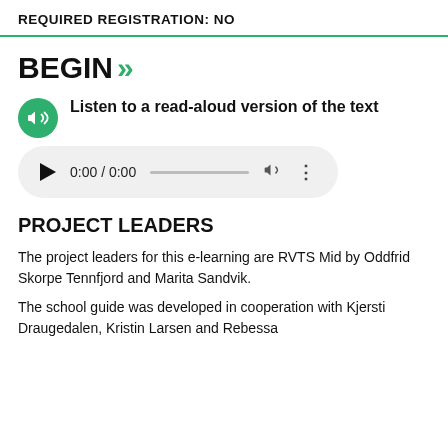REQUIRED REGISTRATION: NO
BEGIN >>
Listen to a read-aloud version of the text
[Figure (other): Audio player with play button, time display 0:00 / 0:00, progress bar, volume icon, and more options icon]
PROJECT LEADERS
The project leaders for this e-learning are RVTS Mid by Oddfrid Skorpe Tennfjord and Marita Sandvik.
The school guide was developed in cooperation with Kjersti Draugedalen, Kristin Larsen and Rebessa